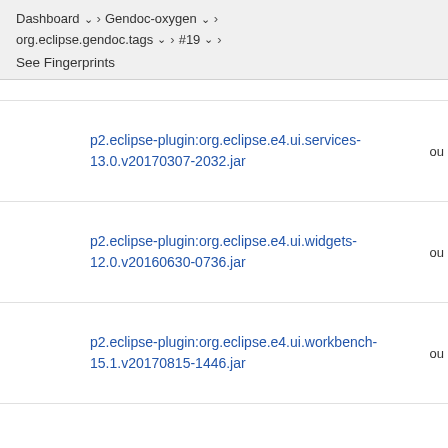Dashboard > Gendoc-oxygen > org.eclipse.gendoc.tags > #19 > See Fingerprints
p2.eclipse-plugin:org.eclipse.e4.ui.services-13.0.v20170307-2032.jar
p2.eclipse-plugin:org.eclipse.e4.ui.widgets-12.0.v20160630-0736.jar
p2.eclipse-plugin:org.eclipse.e4.ui.workbench-15.1.v20170815-1446.jar